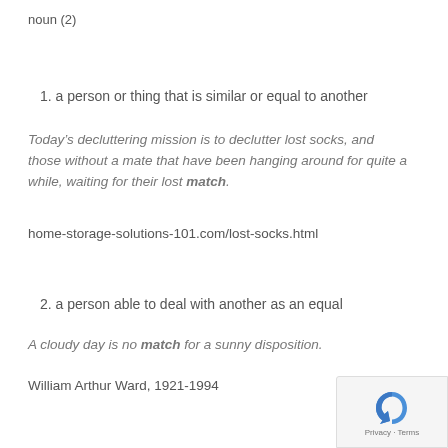noun (2)
1. a person or thing that is similar or equal to another
Today’s decluttering mission is to declutter lost socks, and those without a mate that have been hanging around for quite a while, waiting for their lost match.
home-storage-solutions-101.com/lost-socks.html
2. a person able to deal with another as an equal
A cloudy day is no match for a sunny disposition.
William Arthur Ward, 1921-1994